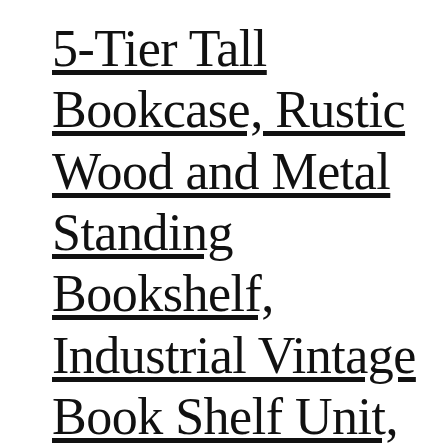5-Tier Tall Bookcase, Rustic Wood and Metal Standing Bookshelf, Industrial Vintage Book Shelf Unit, Open Back Modern Office Bookcases